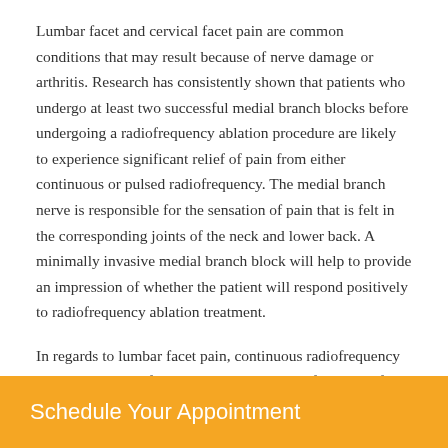Lumbar facet and cervical facet pain are common conditions that may result because of nerve damage or arthritis. Research has consistently shown that patients who undergo at least two successful medial branch blocks before undergoing a radiofrequency ablation procedure are likely to experience significant relief of pain from either continuous or pulsed radiofrequency. The medial branch nerve is responsible for the sensation of pain that is felt in the corresponding joints of the neck and lower back. A minimally invasive medial branch block will help to provide an impression of whether the patient will respond positively to radiofrequency ablation treatment.
In regards to lumbar facet pain, continuous radiofrequency ablation has been found to provide a range of pain relief. Patients have reported pain relief lasting from four months to two years, with the range of four to six months being the most common time frame for pain relief for this procedure. Patients have also reported that their
Schedule Your Appointment